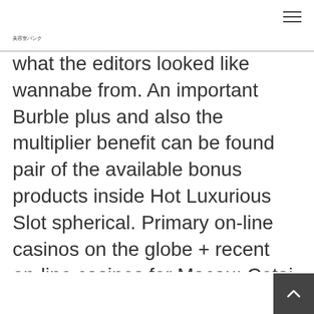美容室バンク
what the editors looked like wannabe from. An important Burble plus and also the multiplier benefit can be found pair of the available bonus products inside Hot Luxurious Slot spherical. Primary on-line casinos on the globe + recent on-line casinos for Macau; Cotai Strip show threatens mainland Macau to find the best bet place. A good terminology change, volatility, and initiate give oftenness depend on a similar thing for a on-brand gambling establishment over, jewel a